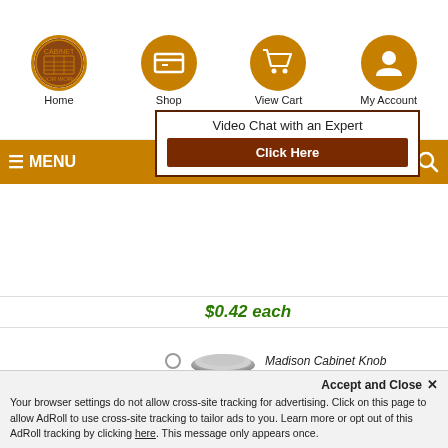[Figure (screenshot): Website navigation header with Home, Shop, View Cart, My Account icons in orange circles on white background]
Home
Shop
View Cart
My Account
≡ MENU
[Figure (other): Video Chat with an Expert popup box with Click Here button]
Video Chat with an Expert
Click Here
[Figure (photo): Silver Madison Cabinet Knob product thumbnail with radio button selector]
$0.42 each
Madison Cabinet Knob
Total Price  $0.00 ($7.00 per unit)
Sq. Feet Each  0
[Figure (other): ADD TO CART button in dark red/brown]
Share :
[Figure (other): Social share buttons: Pinterest, Facebook, Twitter, Email, More]
Accept and Close ✕
Your browser settings do not allow cross-site tracking for advertising. Click on this page to allow AdRoll to use cross-site tracking to tailor ads to you. Learn more or opt out of this AdRoll tracking by clicking here. This message only appears once.